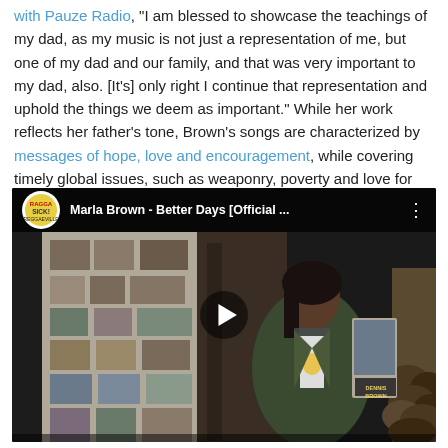with Pauze Radio, "I am blessed to showcase the teachings of my dad, as my music is not just a representation of me, but one of my dad and our family, and that was very important to my dad, also. [It's] only right I continue that representation and uphold the things we deem as important." While her work reflects her father's tone, Brown's songs are characterized by messages of hope, love and encouragement, while covering timely global issues, such as weaponry, poverty and love for all. Below, watch Brown's moving video for her heartfelt song "Better Days."
[Figure (screenshot): Embedded YouTube video player showing Marla Brown - Better Days [Official ...] with a play button overlay. The thumbnail shows a woman in a green jacket standing in front of a market stall with posters and produce.]